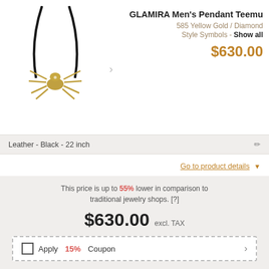[Figure (photo): Gold spider pendant necklace on black leather cord]
GLAMIRA Men's Pendant Teemu
585 Yellow Gold / Diamond
Style Symbols - Show all
$630.00
Leather - Black - 22 inch
Go to product details
This price is up to 55% lower in comparison to traditional jewelry shops. [?]
$630.00 excl. TAX
Apply 15% Coupon
Free Shipping
60 Day Return Policy
Interest-Free Installments [?]
| 3 Months | 6 Months |
| --- | --- |